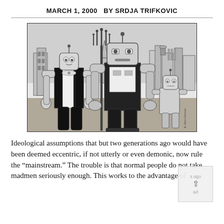MARCH 1, 2000   BY SRDJA TRIFKOVIC
[Figure (illustration): A black-and-white cartoon illustration parodying Grant Wood's American Gothic, with robot figures standing in front of a cityscape background. A larger robot holds a pitchfork, accompanied by a smaller female robot, a tall robot in the center, and a small robot child to the right.]
Ideological assumptions that but two generations ago would have been deemed eccentric, if not utterly or even demonic, now rule the “mainstream.” The trouble is that normal people do not take madmen seriously enough. This works to the advantage of